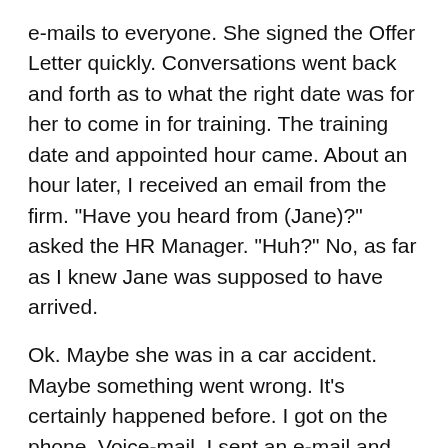e-mails to everyone. She signed the Offer Letter quickly. Conversations went back and forth as to what the right date was for her to come in for training. The training date and appointed hour came. About an hour later, I received an email from the firm. "Have you heard from (Jane)?" asked the HR Manager. "Huh?" No, as far as I knew Jane was supposed to have arrived.
Ok. Maybe she was in a car accident. Maybe something went wrong. It's certainly happened before. I got on the phone. Voice-mail. I sent an e-mail and marked "high importance". I waited. Nothing. As the day went on, there was no response. I ended up calling her current firm. The receptionist said she was not at her desk. Again, no response. I started to worry. What could have happened? The next day, I called her cell phone, sent an email, called the firm. Nothing. I felt a still a long time listening and found...